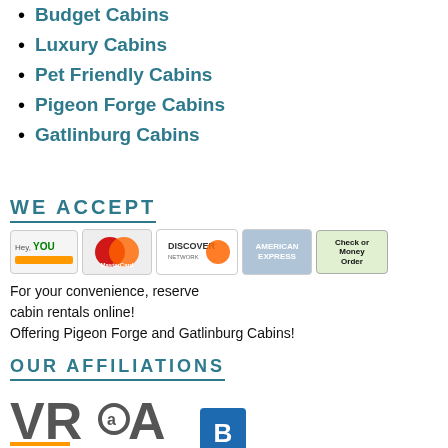Budget Cabins
Luxury Cabins
Pet Friendly Cabins
Pigeon Forge Cabins
Gatlinburg Cabins
WE ACCEPT
[Figure (infographic): Payment method icons: Visa/Hey YOU, MasterCard, Discover, American Express, Check or Money Order]
For your convenience, reserve cabin rentals online!
Offering Pigeon Forge and Gatlinburg Cabins!
OUR AFFILIATIONS
[Figure (logo): VRMA (Vacation Rental Managers Association) logo and BBB logo]